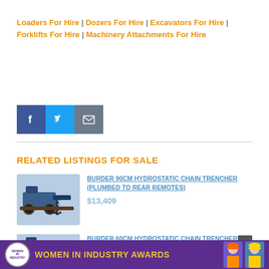Loaders For Hire | Dozers For Hire | Excavators For Hire | Forklifts For Hire | Machinery Attachments For Hire
[Figure (other): Social share buttons: Facebook (blue), Twitter (light blue), Email (grey)]
RELATED LISTINGS FOR SALE
[Figure (photo): Burder 90CM Hydrostatic Chain Trencher thumbnail image]
BURDER 90CM HYDROSTATIC CHAIN TRENCHER (PLUMBED TO REAR REMOTES)
$13,409
[Figure (photo): Burder 60CM Hydrostatic Chain Trencher thumbnail image]
BURDER 60CM HYDROSTATIC CHAIN TRENCHER (PLUMBED TO REAR REMOTES)
$11,643
[Figure (other): Women in Industry Awards banner with purple background and people in hard hats]